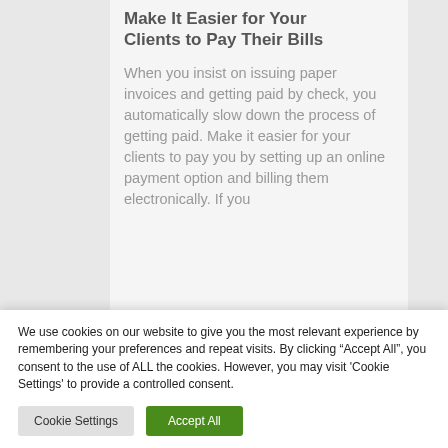Make It Easier for Your Clients to Pay Their Bills
When you insist on issuing paper invoices and getting paid by check, you automatically slow down the process of getting paid. Make it easier for your clients to pay you by setting up an online payment option and billing them electronically. If you
We use cookies on our website to give you the most relevant experience by remembering your preferences and repeat visits. By clicking “Accept All”, you consent to the use of ALL the cookies. However, you may visit 'Cookie Settings' to provide a controlled consent.
Cookie Settings
Accept All